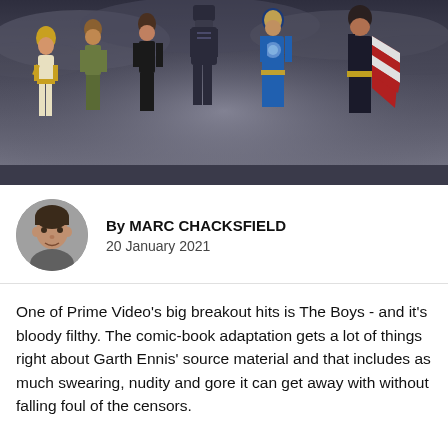[Figure (photo): Promotional photo of superhero characters from The Boys TV show, standing in a line against a dramatic cloudy sky background. Characters in various superhero costumes including a woman in gold and white, man in green, woman in black leather, armored figure, character in blue metallic suit, and a figure in dark suit with American flag cape.]
By MARC CHACKSFIELD
20 January 2021
One of Prime Video's big breakout hits is The Boys - and it's bloody filthy. The comic-book adaptation gets a lot of things right about Garth Ennis' source material and that includes as much swearing, nudity and gore it can get away with without falling foul of the censors.